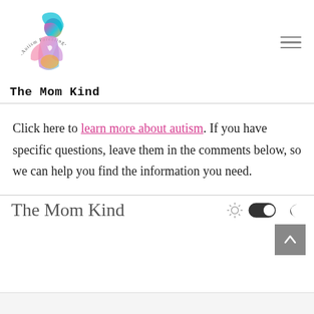[Figure (logo): Autism Parenting logo with rainbow-colored mother and child silhouette illustration, text '-Autism Parenting-' in arc above]
The Mom Kind
Click here to learn more about autism. If you have specific questions, leave them in the comments below, so we can help you find the information you need.
The Mom Kind